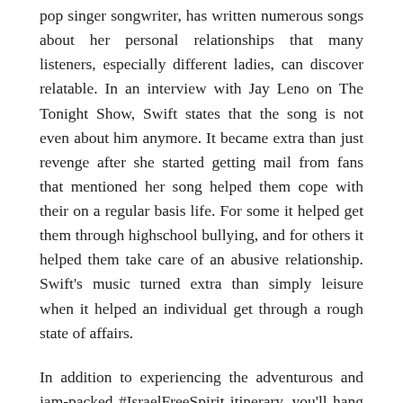pop singer songwriter, has written numerous songs about her personal relationships that many listeners, especially different ladies, can discover relatable. In an interview with Jay Leno on The Tonight Show, Swift states that the song is not even about him anymore. It became extra than just revenge after she started getting mail from fans that mentioned her song helped them cope with their on a regular basis life. For some it helped get them through highschool bullying, and for others it helped them take care of an abusive relationship. Swift's music turned extra than simply leisure when it helped an individual get through a rough state of affairs.
In addition to experiencing the adventurous and jam-packed #IsraelFreeSpirit itinerary, you'll hang around with Israelis your age who share the same ardour for the arts and music. We're creating a novel artistic community that you could collaborate with and develop with for years to return. Some experiences are tough to communicate with verbal language. By expressing feelings, occasions, challenges, and